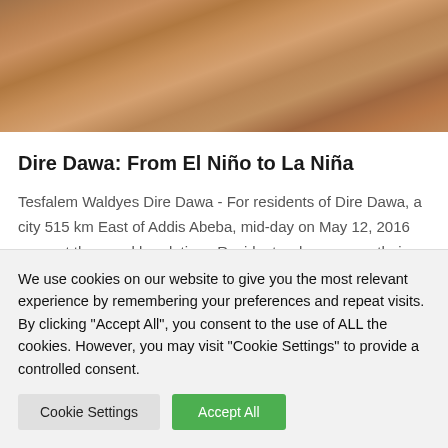[Figure (photo): Partial view of a sandy/dusty flood scene, brownish sandy texture visible, top portion of image cropped]
Dire Dawa: From El Niño to La Niña
Tesfalem Waldyes Dire Dawa - For residents of Dire Dawa, a city 515 km East of Addis Abeba, mid-day on May 12, 2016 was not the usual break time. Residents who were on their way home for lunch were forced to stop when they
We use cookies on our website to give you the most relevant experience by remembering your preferences and repeat visits. By clicking "Accept All", you consent to the use of ALL the cookies. However, you may visit "Cookie Settings" to provide a controlled consent.